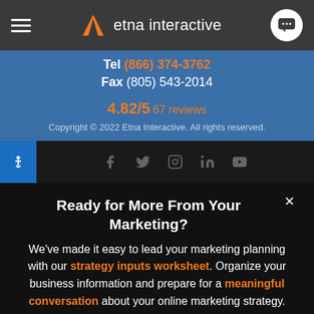etna interactive — navigation bar with hamburger menu and chat icon
Tel (866) 374-3762
Fax (805) 543-2014
4.82/5  67 reviews
Copyright © 2022 Etna Interactive. All rights reserved.
[Figure (screenshot): Dark footer bar with accessibility icon, social media icons (Facebook, Twitter, Instagram, LinkedIn, YouTube), and Privacy Policy / Site Map links]
Ready for More From Your Marketing?
We've made it easy to lead your marketing planning with our strategy inputs worksheet. Organize your business information and prepare for a meaningful conversation about your online marketing strategy.